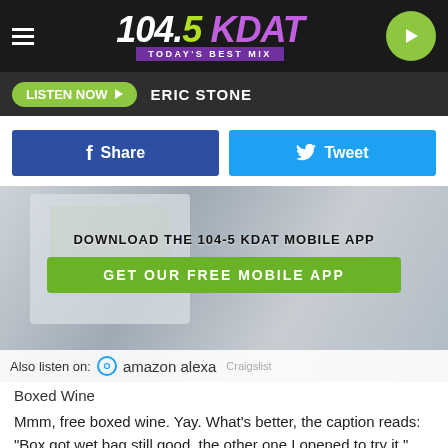104.5 KDAT — TODAY'S BEST MIX
LISTEN NOW  ERIC STONE
[Figure (screenshot): Share and Tweet social media buttons row]
[Figure (photo): Boxed wine advertisement overlay with text: DOWNLOAD THE 104-5 KDAT MOBILE APP and GET OUR FREE MOBILE APP button. Also listen on: amazon alexa Craigslist]
Boxed Wine
Mmm, free boxed wine. Yay. What's better, the caption reads: "Box got wet bag still good, the other one I opened to try it."